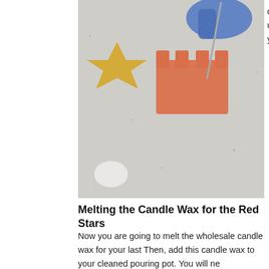[Figure (photo): Hands wearing blue gloves inserting a wick into star-shaped candle molds (orange and yellow) on a speckled countertop.]
of the three completely. use the wick the center, y recipe.
Melting the Candle Wax for the Red Stars
Now you are going to melt the wholesale candle wax for your last Then, add this candle wax to your cleaned pouring pot. You will ne
Adding the Candle Colorant for the Red Stars
After the Pillar of Bliss Wax has entirely melted you are ready to c scarlet red color block. In order to create the red color for your sta